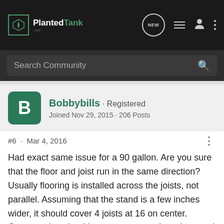PlantedTank
Search Community
Bobbybills · Registered
Joined Nov 29, 2015 · 206 Posts
#6 · Mar 4, 2016
Had exact same issue for a 90 gallon. Are you sure that the floor and joist run in the same direction? Usually flooring is installed across the joists, not parallel. Assuming that the stand is a few inches wider, it should cover 4 joists at 16 on center. Compression should not worry you unless the stand has feet. If so, remove them and spread the joy. If you cannot remove feet or if the stand has legs of some type, install blocking in line with the front and back plane of the stand to be safe.